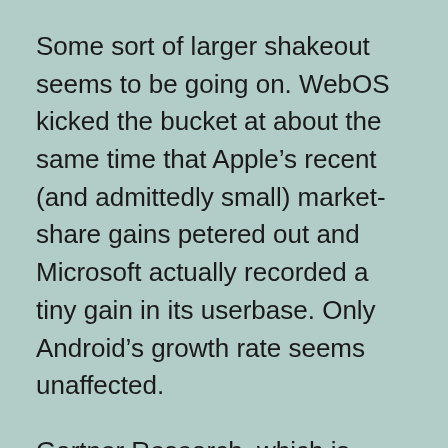Some sort of larger shakeout seems to be going on. WebOS kicked the bucket at about the same time that Apple’s recent (and admittedly small) market-share gains petered out and Microsoft actually recorded a tiny gain in its userbase. Only Android’s growth rate seems unaffected.
Gartner Research, which is generally very conservative and kind to market incumbents, has said it thinks consumers “in mature markets” (whatever that means) have essentially stopped buying dumbphones in favor of lower-end Android handsets. And it’s